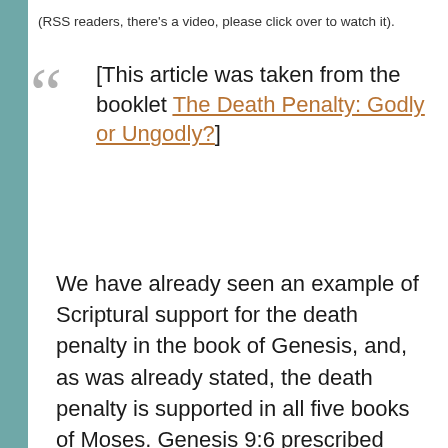(RSS readers, there's a video, please click over to watch it).
[This article was taken from the booklet The Death Penalty: Godly or Ungodly?]
We have already seen an example of Scriptural support for the death penalty in the book of Genesis, and, as was already stated, the death penalty is supported in all five books of Moses. Genesis 9:6 prescribed